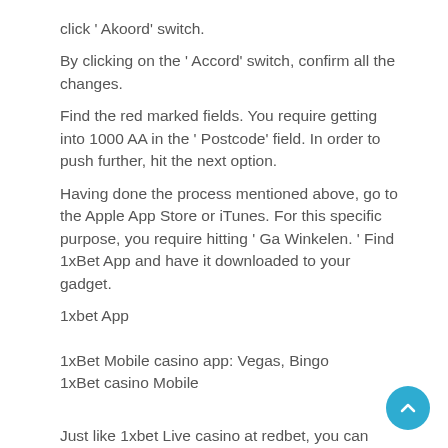click ' Akoord' switch.
By clicking on the ' Accord' switch, confirm all the changes.
Find the red marked fields. You require getting into 1000 AA in the ' Postcode' field. In order to push further, hit the next option.
Having done the process mentioned above, go to the Apple App Store or iTunes. For this specific purpose, you require hitting ' Ga Winkelen. ' Find 1xBet App and have it downloaded to your gadget.
1xbet App
1xBet Mobile casino app: Vegas, Bingo
1xBet casino Mobile
Just like 1xbet Live casino at redbet, you can also get a one-of-a-kind video gaming experience via Vegas. You' re